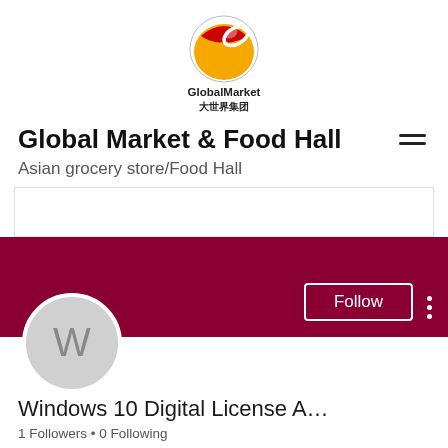[Figure (logo): GlobalMarket logo: circular globe with red and orange/yellow graphic, white ring, text 'GlobalMarket' and Chinese characters '大世界集团']
Global Market & Food Hall
Asian grocery store/Food Hall
[Figure (photo): Cover image area - white/light rectangle above dark crimson banner. Banner contains a Follow button and three-dot menu. Avatar circle with letter W overlapping bottom of banner.]
Windows 10 Digital License A…
1 Followers • 0 Following